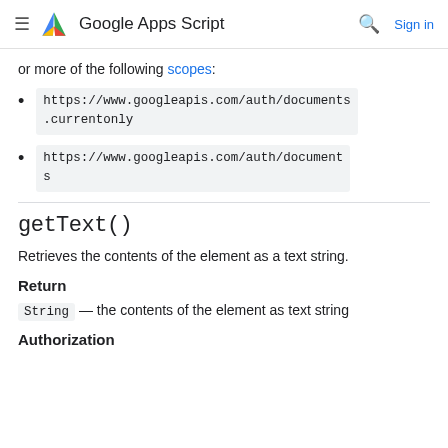Google Apps Script
or more of the following scopes:
https://www.googleapis.com/auth/documents.currentonly
https://www.googleapis.com/auth/documents
getText()
Retrieves the contents of the element as a text string.
Return
String — the contents of the element as text string
Authorization